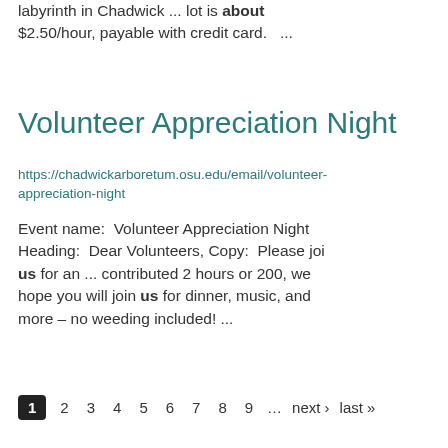Labyrinth Walk: Walking the sandstone labyrinth in Chadwick ... lot is about $2.50/hour, payable with credit card.   ...
Volunteer Appreciation Night
https://chadwickarboretum.osu.edu/email/volunteer-appreciation-night
Event name:  Volunteer Appreciation Night Heading:  Dear Volunteers, Copy:  Please join us for an ... contributed 2 hours or 200, we hope you will join us for dinner, music, and more – no weeding included! ...
1 2 3 4 5 6 7 8 9 … next › last »